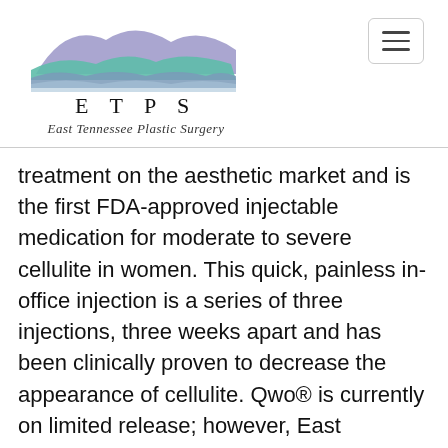[Figure (logo): ETPS East Tennessee Plastic Surgery logo with wave/mountain graphic in purple, teal, and blue-grey colors, and hamburger menu button top right]
treatment on the aesthetic market and is the first FDA-approved injectable medication for moderate to severe cellulite in women. This quick, painless in-office injection is a series of three injections, three weeks apart and has been clinically proven to decrease the appearance of cellulite. Qwo® is currently on limited release; however, East Tennessee Plastic Surgery is on the list to start treating patients as soon as additional practice sites are open! Call our office today or reach out to us on